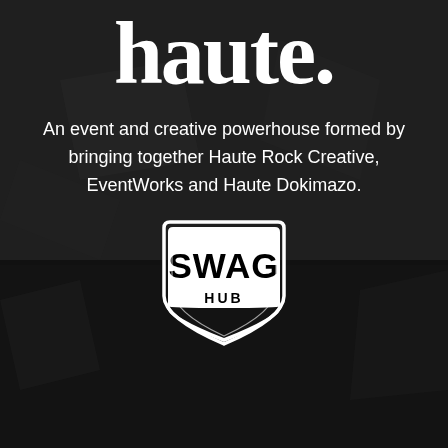haute.
An event and creative powerhouse formed by bringing together Haute Rock Creative, EventWorks and Haute Dokimazo.
[Figure (logo): SWAG HUB logo — a badge/shield shape in white outline with 'SWAG' in bold black text on white background and 'HUB' below in a white banner with black text]
A unique SaaS platform that features highly curated merchandise and easy-to-use digital storefronts with no inventory liability.